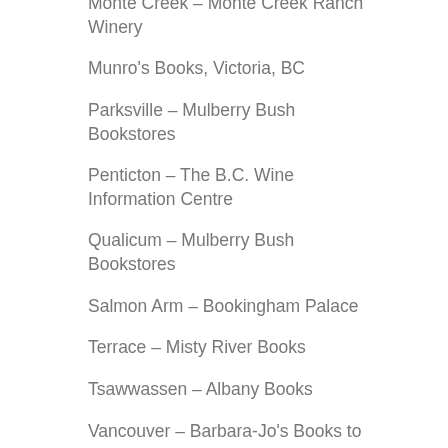Monte Creek – Monte Creek Ranch Winery
Munro's Books, Victoria, BC
Parksville – Mulberry Bush Bookstores
Penticton – The B.C. Wine Information Centre
Qualicum – Mulberry Bush Bookstores
Salmon Arm – Bookingham Palace
Terrace – Misty River Books
Tsawwassen – Albany Books
Vancouver – Barbara-Jo's Books to…